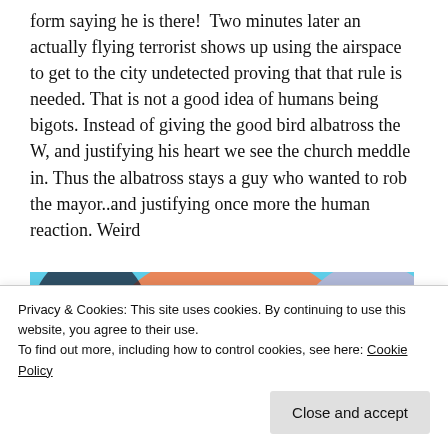form saying he is there!  Two minutes later an actually flying terrorist shows up using the airspace to get to the city undetected proving that that rule is needed. That is not a good idea of humans being bigots. Instead of giving the good bird albatross the W, and justifying his heart we see the church meddle in. Thus the albatross stays a guy who wanted to rob the mayor..and justifying once more the human reaction. Weird
[Figure (illustration): Animated illustration showing colorful cartoon characters, partially visible. A caption bar at the bottom reads 'Free... Well, it used to be like that.']
Privacy & Cookies: This site uses cookies. By continuing to use this website, you agree to their use.
To find out more, including how to control cookies, see here: Cookie Policy
Close and accept